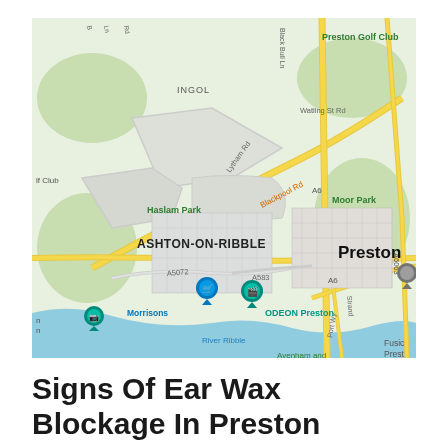[Figure (map): Google Maps view of Preston, UK area showing Ashton-on-Ribble, Ingol, Haslam Park, Moor Park, Preston Golf Club, River Ribble, and landmarks including Morrisons, ODEON Preston, with road labels including Blackpool Rd, Lytham Rd, Watling St Rd, A6, A6063, A583, A5072, Port Way, Strand Rd.]
Signs Of Ear Wax Blockage In Preston